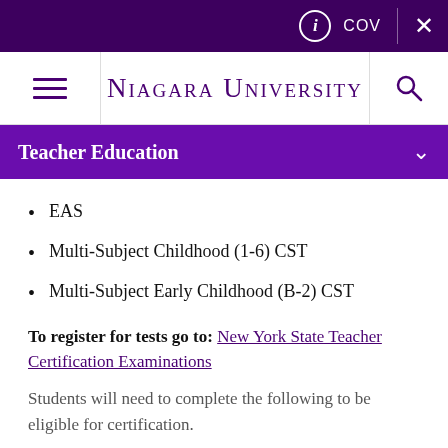[Figure (screenshot): Top dark purple navigation bar with info icon, COV text, vertical divider, and X close button on the right side]
[Figure (logo): Niagara University navigation bar with hamburger menu on left, Niagara University logo in center, search icon on right]
Teacher Education
EAS
Multi-Subject Childhood (1-6) CST
Multi-Subject Early Childhood (B-2) CST
To register for tests go to: New York State Teacher Certification Examinations
Students will need to complete the following to be eligible for certification.